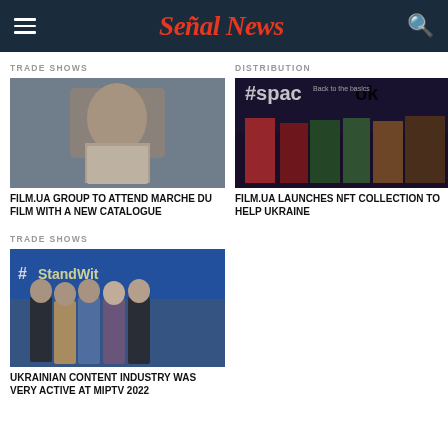Señal News
TRADE SHOWS
[Figure (photo): Portrait of a man in a beige blazer]
FILM.UA GROUP TO ATTEND MARCHE DU FILM WITH A NEW CATALOGUE
DISTRIBUTION
[Figure (photo): Promotional image for #spadok showing women in traditional Ukrainian costumes]
FILM.UA LAUNCHES NFT COLLECTION TO HELP UKRAINE
TRADE SHOWS
[Figure (photo): Group photo of women at MIPTV 2022 with #StandWith... banner in background]
UKRAINIAN CONTENT INDUSTRY WAS VERY ACTIVE AT MIPTV 2022